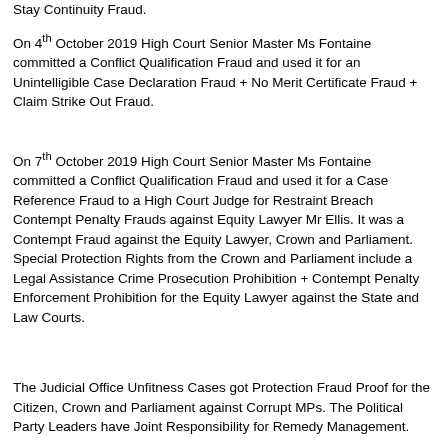Stay Continuity Fraud.
On 4th October 2019 High Court Senior Master Ms Fontaine committed a Conflict Qualification Fraud and used it for an Unintelligible Case Declaration Fraud + No Merit Certificate Fraud + Claim Strike Out Fraud.
On 7th October 2019 High Court Senior Master Ms Fontaine committed a Conflict Qualification Fraud and used it for a Case Reference Fraud to a High Court Judge for Restraint Breach Contempt Penalty Frauds against Equity Lawyer Mr Ellis. It was a Contempt Fraud against the Equity Lawyer, Crown and Parliament. Special Protection Rights from the Crown and Parliament include a Legal Assistance Crime Prosecution Prohibition + Contempt Penalty Enforcement Prohibition for the Equity Lawyer against the State and Law Courts.
The Judicial Office Unfitness Cases got Protection Fraud Proof for the Citizen, Crown and Parliament against Corrupt MPs. The Political Party Leaders have Joint Responsibility for Remedy Management.